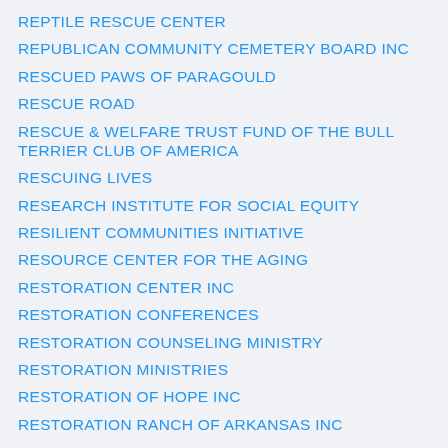REPTILE RESCUE CENTER
REPUBLICAN COMMUNITY CEMETERY BOARD INC
RESCUED PAWS OF PARAGOULD
RESCUE ROAD
RESCUE & WELFARE TRUST FUND OF THE BULL TERRIER CLUB OF AMERICA
RESCUING LIVES
RESEARCH INSTITUTE FOR SOCIAL EQUITY
RESILIENT COMMUNITIES INITIATIVE
RESOURCE CENTER FOR THE AGING
RESTORATION CENTER INC
RESTORATION CONFERENCES
RESTORATION COUNSELING MINISTRY
RESTORATION MINISTRIES
RESTORATION OF HOPE INC
RESTORATION RANCH OF ARKANSAS INC